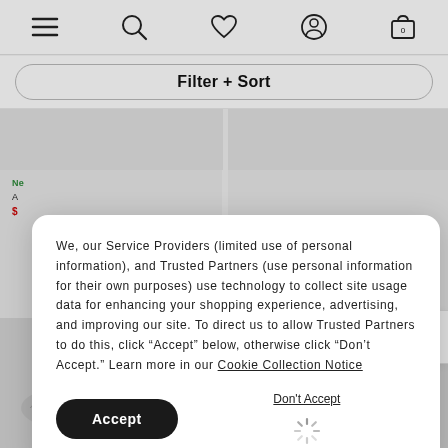Navigation bar with menu, search, wishlist, account, and cart (0) icons
Filter + Sort
[Figure (screenshot): Two product grid tiles partially visible, showing sneaker images with labels: New, product name, and red price starting with $]
We, our Service Providers (limited use of personal information), and Trusted Partners (use personal information for their own purposes) use technology to collect site usage data for enhancing your shopping experience, advertising, and improving our site. To direct us to allow Trusted Partners to do this, click “Accept” below, otherwise click “Don’t Accept.” Learn more in our Cookie Collection Notice
Accept
Don't Accept
[Figure (infographic): Loading spinner SVG animation]
Chat